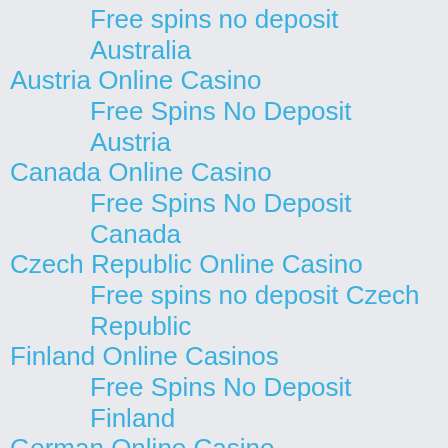Free spins no deposit Australia
Austria Online Casino
Free Spins No Deposit Austria
Canada Online Casino
Free Spins No Deposit Canada
Czech Republic Online Casino
Free spins no deposit Czech Republic
Finland Online Casinos
Free Spins No Deposit Finland
German Online Casino
Free Spins No Deposit German
Hungary Online Casinos
Free Spins No Deposit Hungary
Online Casino India
Free Spins No Deposit India
Indonesia Online Casino
Free Spins No Deposit Indonesia
Ireland Online Casinos